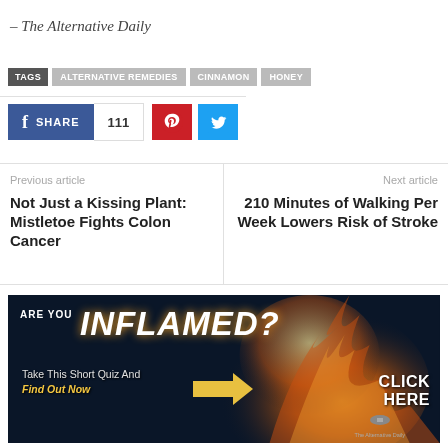– The Alternative Daily
TAGS  ALTERNATIVE REMEDIES  CINNAMON  HONEY
[Figure (screenshot): Social share buttons: Facebook Share with count 111, Pinterest, Twitter]
Previous article
Not Just a Kissing Plant: Mistletoe Fights Colon Cancer
Next article
210 Minutes of Walking Per Week Lowers Risk of Stroke
[Figure (infographic): Advertisement banner: ARE YOU INFLAMED? Take This Short Quiz And Find Out Now. CLICK HERE. The Alternative Daily logo.]